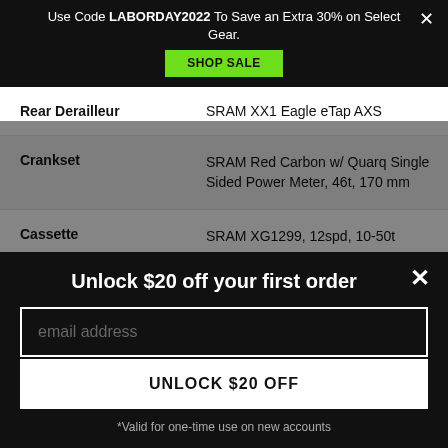Use Code LABORDAY2022 To Save an Extra 30% on Select Gear.
SHOP SALE
| Spec | Value |
| --- | --- |
| Rear Derailleur | SRAM XX1 Eagle eTap AXS |
| Crankset | SRAM Red Carbon w/ Quarq Single Sided Power Meter, 46t, 170 mm |
| Cassette | SRAM XG1299, 12spd, 10-50t |
Unlock $20 off your first order
email address
UNLOCK $20 OFF
*Valid for one-time use on new accounts